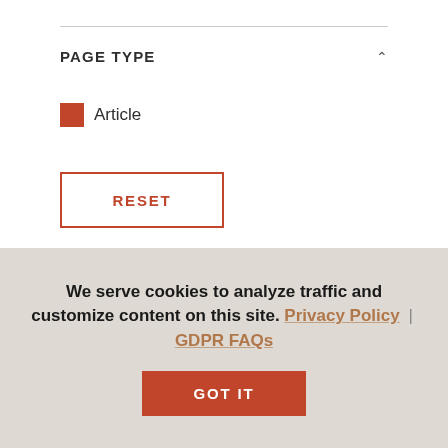PAGE TYPE
Article
RESET
1 – 14 of 14 results
[Figure (photo): Partial view of a colorful image strip at the top of search results]
We serve cookies to analyze traffic and customize content on this site. Privacy Policy | GDPR FAQs
GOT IT